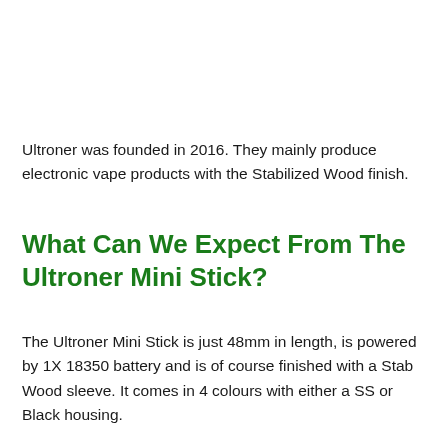Ultroner was founded in 2016. They mainly produce electronic vape products with the Stabilized Wood finish.
What Can We Expect From The Ultroner Mini Stick?
The Ultroner Mini Stick is just 48mm in length, is powered by 1X 18350 battery and is of course finished with a Stab Wood sleeve. It comes in 4 colours with either a SS or Black housing.